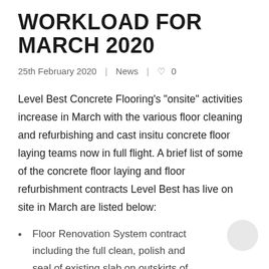WORKLOAD FOR MARCH 2020
25th February 2020  |  News  |  ♡ 0
Level Best Concrete Flooring's "onsite" activities increase in March with the various floor cleaning and refurbishing and cast insitu concrete floor laying teams now in full flight. A brief list of some of the concrete floor laying and floor refurbishment contracts Level Best has live on site in March are listed below:
Floor Renovation System contract including the full clean, polish and seal of existing slab on outskirts of Birmingham for